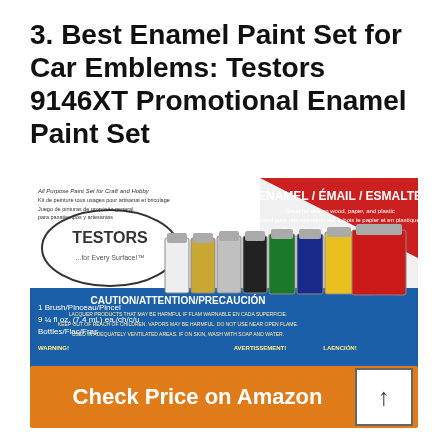3. Best Enamel Paint Set for Car Emblems: Testors 9146XT Promotional Enamel Paint Set
[Figure (photo): Photo of Testors 9146XT Promotional Enamel Paint Set packaging showing 9 small paint bottles in various colors (white, gold, silver, black, green, blue, yellow, red) with a brush included. The box shows 'ENAMEL / EMAIL / ESMALTE', 'All Purpose Paint Set for Craft and Hobby', '1 Brush/Pinceau/Pincel', '9 1/4 fl oz. (7.4 mL) ea./ch/c/u Bottles/Flac/Fras', and 'CAUTION/ATTENTION/PRECAUCION'.]
Check Price on Amazon